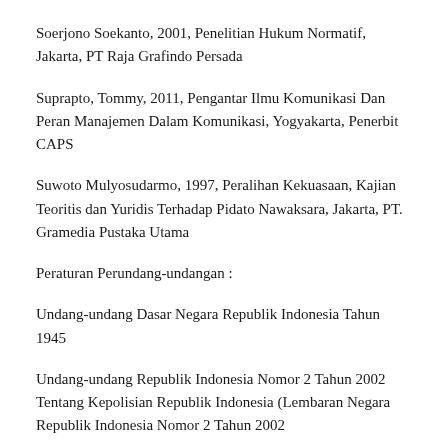Soerjono Soekanto, 2001, Penelitian Hukum Normatif, Jakarta, PT Raja Grafindo Persada
Suprapto, Tommy, 2011, Pengantar Ilmu Komunikasi Dan Peran Manajemen Dalam Komunikasi, Yogyakarta, Penerbit CAPS
Suwoto Mulyosudarmo, 1997, Peralihan Kekuasaan, Kajian Teoritis dan Yuridis Terhadap Pidato Nawaksara, Jakarta, PT. Gramedia Pustaka Utama
Peraturan Perundang-undangan :
Undang-undang Dasar Negara Republik Indonesia Tahun 1945
Undang-undang Republik Indonesia Nomor 2 Tahun 2002 Tentang Kepolisian Republik Indonesia (Lembaran Negara Republik Indonesia Nomor 2 Tahun 2002